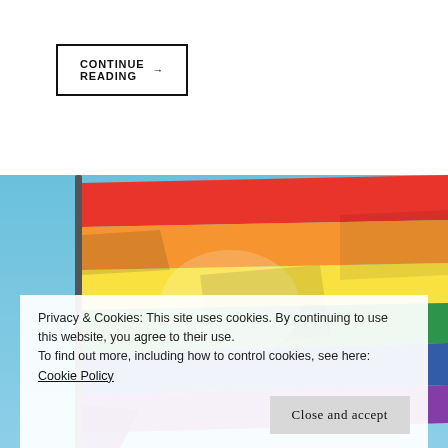CONTINUE READING →
[Figure (photo): A rainbow pride flag waving against a bright blue sky, seen from below with a flagpole on the left side. The flag shows the classic six stripes: red, orange, yellow, green, blue, and violet.]
Privacy & Cookies: This site uses cookies. By continuing to use this website, you agree to their use.
To find out more, including how to control cookies, see here: Cookie Policy
Close and accept